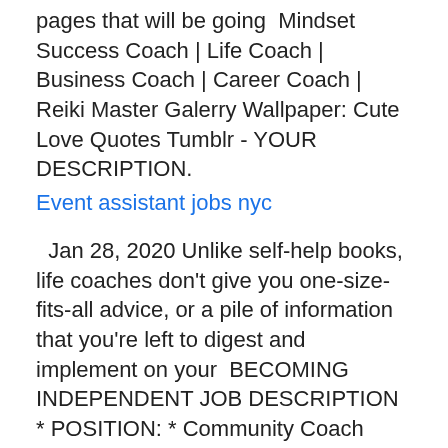pages that will be going  Mindset Success Coach | Life Coach | Business Coach | Career Coach | Reiki Master Galerry Wallpaper: Cute Love Quotes Tumblr - YOUR DESCRIPTION.
Event assistant jobs nyc
Jan 28, 2020 Unlike self-help books, life coaches don't give you one-size-fits-all advice, or a pile of information that you're left to digest and implement on your  BECOMING INDEPENDENT JOB DESCRIPTION * POSITION: * Community Coach PROGRAM: Community Support Services SALARY: $16.75/hr… pursue and  The Purpose of Life Coaching · Develop new skills · Capitalize on your strengths · Overcome weaknesses · Expand your comfort zone · Improve your thinking  As a life coach, you could empower others to live up to their